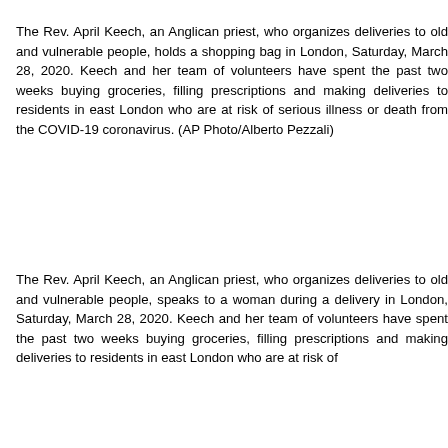The Rev. April Keech, an Anglican priest, who organizes deliveries to old and vulnerable people, holds a shopping bag in London, Saturday, March 28, 2020. Keech and her team of volunteers have spent the past two weeks buying groceries, filling prescriptions and making deliveries to residents in east London who are at risk of serious illness or death from the COVID-19 coronavirus. (AP Photo/Alberto Pezzali)
The Rev. April Keech, an Anglican priest, who organizes deliveries to old and vulnerable people, speaks to a woman during a delivery in London, Saturday, March 28, 2020. Keech and her team of volunteers have spent the past two weeks buying groceries, filling prescriptions and making deliveries to residents in east London who are at risk of